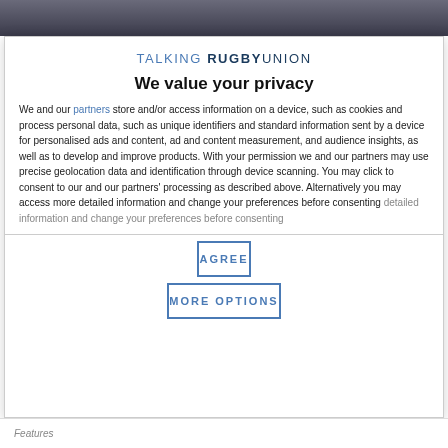[Figure (photo): Dark photo strip at the top of the page, partially visible sports/rugby image]
TALKING RUGBY UNION
We value your privacy
We and our partners store and/or access information on a device, such as cookies and process personal data, such as unique identifiers and standard information sent by a device for personalised ads and content, ad and content measurement, and audience insights, as well as to develop and improve products. With your permission we and our partners may use precise geolocation data and identification through device scanning. You may click to consent to our and our partners' processing as described above. Alternatively you may access more detailed information and change your preferences before consenting
AGREE
MORE OPTIONS
Features